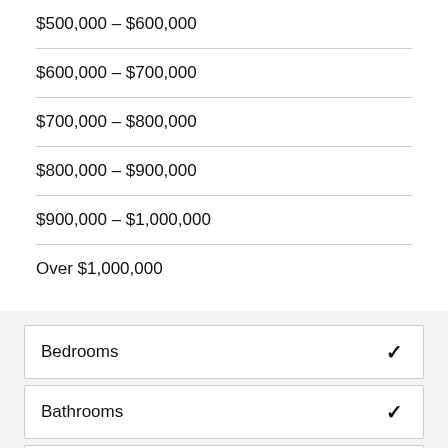$500,000 – $600,000
$600,000 – $700,000
$700,000 – $800,000
$800,000 – $900,000
$900,000 – $1,000,000
Over $1,000,000
Bedrooms
Bathrooms
Price Range